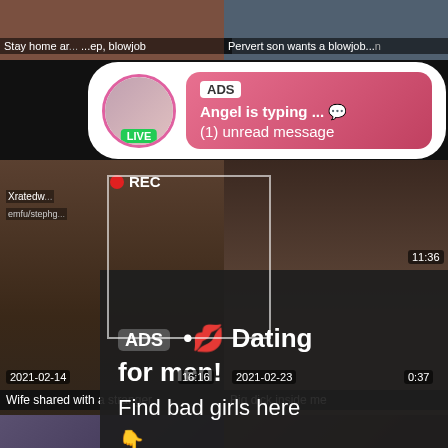[Figure (screenshot): Top-left video thumbnail]
[Figure (screenshot): Top-right video thumbnail]
Stay home ar... ...ep, blowjob
Pervert son wants a blowjob...n
[Figure (screenshot): ADS notification bubble with avatar, LIVE badge, pink gradient message box: ADS Angel is typing ... 💬 (1) unread message]
[Figure (screenshot): Middle-left video thumbnail with REC indicator and camera frame overlay, date 2021-02-14, duration 16:16, channel Xratedw..., emfu/stephg...]
[Figure (screenshot): Middle-right video thumbnail, date 2021-02-23, duration 11:36 / 0:37]
[Figure (screenshot): Dark overlay panel with ADS • 💋 Dating for men! Find bad girls here 👇]
Wife shared with a stranger
Big dick inside me
[Figure (screenshot): Bottom-left partial thumbnail]
[Figure (screenshot): Bottom-right partial thumbnail]